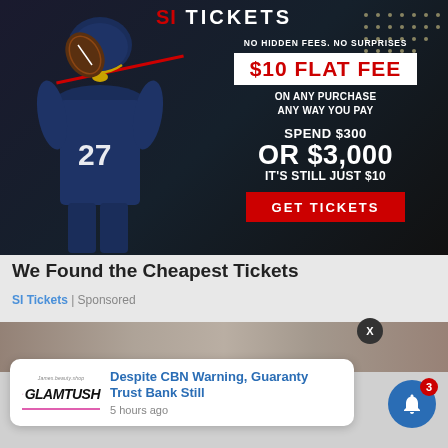[Figure (screenshot): SI Tickets advertisement banner featuring a football player in uniform #27, dark background with stadium lights. Text reads: NO HIDDEN FEES. NO SURPRISES, $10 FLAT FEE, ON ANY PURCHASE ANY WAY YOU PAY, SPEND $300 OR $3,000 IT'S STILL JUST $10, GET TICKETS button]
We Found the Cheapest Tickets
SI Tickets | Sponsored
[Figure (screenshot): Partial second advertisement strip at bottom of main ad area]
Despite CBN Warning, Guaranty Trust Bank Still
5 hours ago